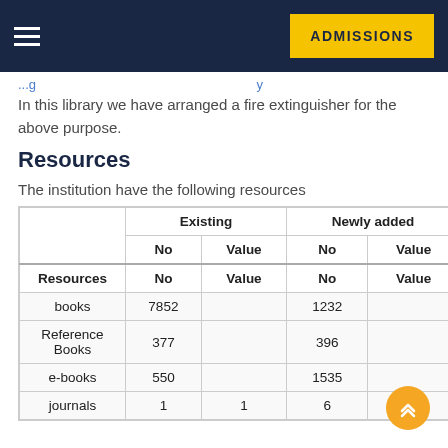ADMISSIONS
In this library we have arranged a fire extinguisher for the above purpose.
Resources
The institution have the following resources
| Resources | Existing No | Existing Value | Newly added No | Newly added Value | Total No | Total Value | Softco |
| --- | --- | --- | --- | --- | --- | --- | --- |
| books | 7852 |  | 1232 |  | 9084 |  |  |
| Reference Books | 377 |  | 396 |  | 753 |  |  |
| e-books | 550 |  | 1535 |  | 2085 |  | 208 |
| journals | 1 | 1 | 6 |  | 7 |  | 7 |